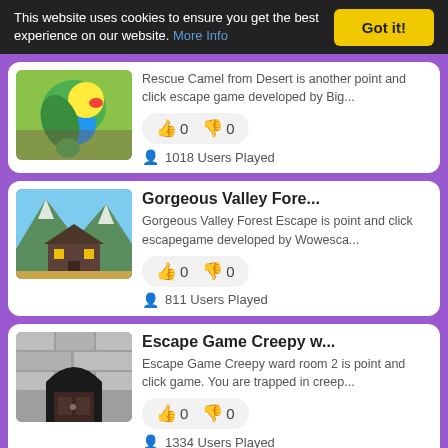This website uses cookies to ensure you get the best experience on our website. More Info  Got it!
Rescue Camel from Desert is another point and click escape game developed by Big...  👍 0  👎 0  1018 Users Played
Gorgeous Valley Fore...
Gorgeous Valley Forest Escape is point and click escapegame developed by Wowesca...  👍 0  👎 0  811 Users Played
Escape Game Creepy w...
Escape Game Creepy ward room 2 is point and click game. You are trapped in creep...  👍 0  👎 0  1334 Users Played